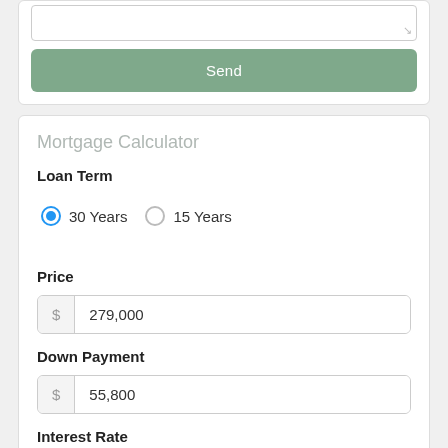[Figure (screenshot): Text area input box (partially visible at top)]
Send
Mortgage Calculator
Loan Term
30 Years  15 Years
Price
279,000
Down Payment
55,800
Interest Rate